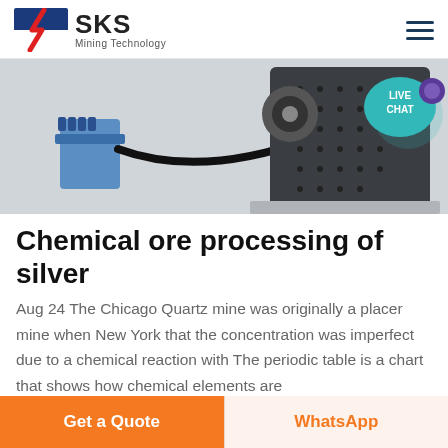SKS Mining Technology
[Figure (photo): Industrial mining crushing machine (jaw crusher / impact crusher) with hydraulic unit, photographed on white background. A 'LIVE CHAT' speech bubble overlay appears in the top right corner of the image.]
Chemical ore processing of silver
Aug 24 The Chicago Quartz mine was originally a placer mine when New York that the concentration was imperfect due to a chemical reaction with The periodic table is a chart that shows how chemical elements are
Get a Quote | WhatsApp